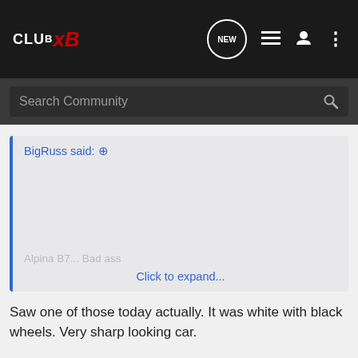CLUBxB NEW
Search Community
BigRuss said: ⊕
Alpina B7... Bad ass
Click to expand...
Saw one of those today actually. It was white with black wheels. Very sharp looking car.